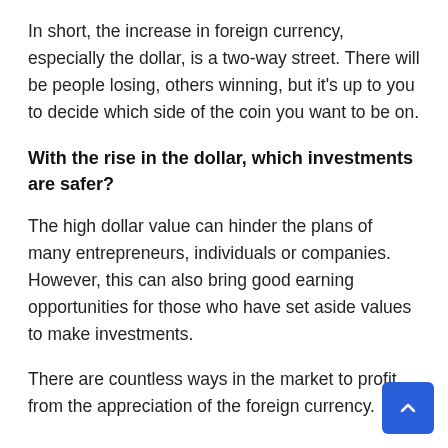In short, the increase in foreign currency, especially the dollar, is a two-way street. There will be people losing, others winning, but it's up to you to decide which side of the coin you want to be on.
With the rise in the dollar, which investments are safer?
The high dollar value can hinder the plans of many entrepreneurs, individuals or companies. However, this can also bring good earning opportunities for those who have set aside values to make investments.
There are countless ways in the market to profit from the appreciation of the foreign currency.